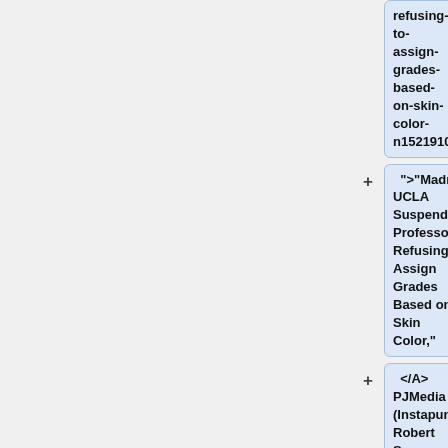refusing-to-assign-grades-based-on-skin-color-n1521910
">"Madness: UCLA Suspends Professor for Refusing to Assign Grades Based on Skin Color,"
</A> PJMedia (Instapundit), Robert Spencer. <br>